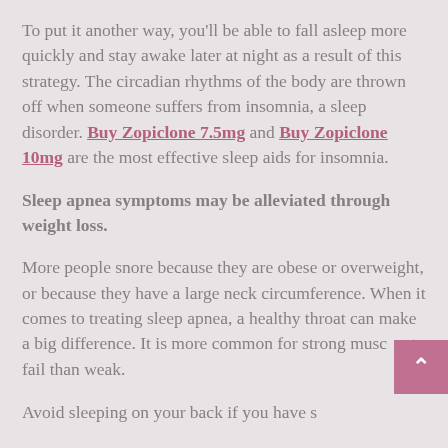To put it another way, you'll be able to fall asleep more quickly and stay awake later at night as a result of this strategy. The circadian rhythms of the body are thrown off when someone suffers from insomnia, a sleep disorder. Buy Zopiclone 7.5mg and Buy Zopiclone 10mg are the most effective sleep aids for insomnia.
Sleep apnea symptoms may be alleviated through weight loss.
More people snore because they are obese or overweight, or because they have a large neck circumference. When it comes to treating sleep apnea, a healthy throat can make a big difference. It is more common for strong muscles to fail than weak.
Avoid sleeping on your back if you have s...